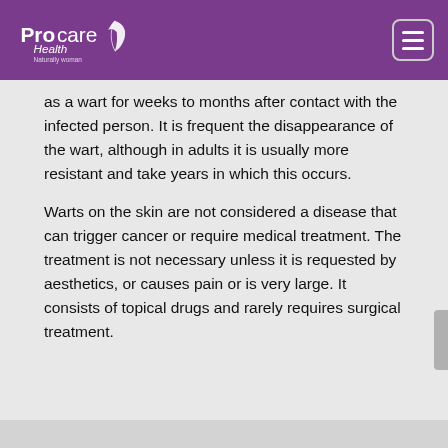Procare Health — Naturally woman
as a wart for weeks to months after contact with the infected person. It is frequent the disappearance of the wart, although in adults it is usually more resistant and take years in which this occurs.
Warts on the skin are not considered a disease that can trigger cancer or require medical treatment. The treatment is not necessary unless it is requested by aesthetics, or causes pain or is very large. It consists of topical drugs and rarely requires surgical treatment.